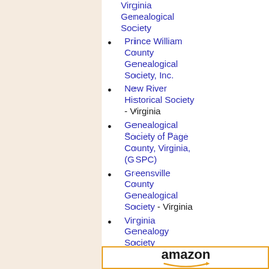Virginia Genealogical Society
Prince William County Genealogical Society, Inc.
New River Historical Society - Virginia
Genealogical Society of Page County, Virginia, (GSPC)
Greensville County Genealogical Society - Virginia
Virginia Genealogy Society
Franklin County Historical Society - Virginia
Bedford County Genealogical Society - Virginia
[Figure (logo): Amazon logo with orange arrow smile beneath the word amazon in bold black text, framed by an orange border]